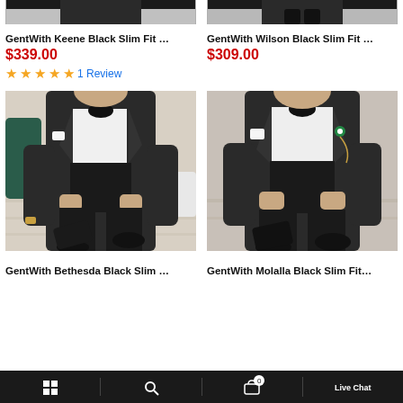[Figure (photo): Partial view of a man in a black slim fit suit from GentWith Keene, top portion cropped]
[Figure (photo): Partial view of a man in a black slim fit suit from GentWith Wilson, top portion cropped]
GentWith Keene Black Slim Fit …
GentWith Wilson Black Slim Fit …
$339.00
$309.00
★★★★★ 1 Review
[Figure (photo): Man in black slim fit tuxedo suit with bow tie, GentWith Bethesda product photo]
[Figure (photo): Man in black slim fit tuxedo suit with bow tie and lapel pin, GentWith Molalla product photo]
GentWith Bethesda Black Slim …
GentWith Molalla Black Slim Fit…
Live Chat